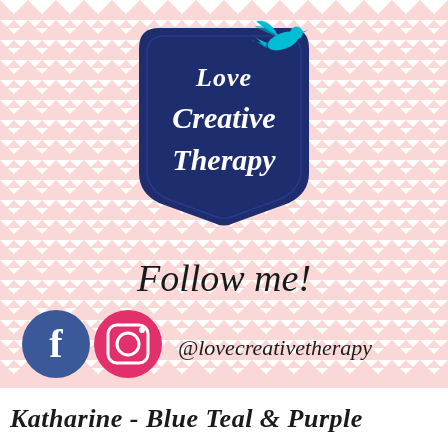[Figure (logo): Love Creative Therapy logo — dark navy badge/shield shape with white italic script text 'Love Creative Therapy' and a teal/cyan bird flying in the upper right corner]
Follow me!
[Figure (infographic): Facebook logo (blue circle with white 'f') and Instagram logo (pink circle with camera icon) followed by the handle @lovecreativetherapy]
Katharine - Blue Teal & Purple